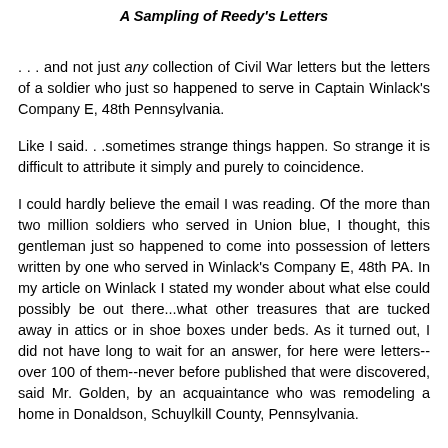A Sampling of Reedy's Letters
. . . and not just any collection of Civil War letters but the letters of a soldier who just so happened to serve in Captain Winlack's Company E, 48th Pennsylvania.
Like I said. . .sometimes strange things happen. So strange it is difficult to attribute it simply and purely to coincidence.
I could hardly believe the email I was reading. Of the more than two million soldiers who served in Union blue, I thought, this gentleman just so happened to come into possession of letters written by one who served in Winlack's Company E, 48th PA. In my article on Winlack I stated my wonder about what else could possibly be out there...what other treasures that are tucked away in attics or in shoe boxes under beds. As it turned out, I did not have long to wait for an answer, for here were letters--over 100 of them--never before published that were discovered, said Mr. Golden, by an acquaintance who was remodeling a home in Donaldson, Schuylkill County, Pennsylvania.